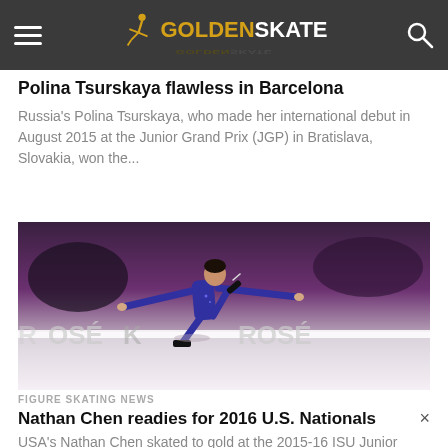GOLDENSKATE
Polina Tsurskaya flawless in Barcelona
Russia's Polina Tsurskaya, who made her international debut in August 2015 at the Junior Grand Prix (JGP) in Bratislava, Slovakia, won the...
[Figure (photo): Figure skater Nathan Chen in a purple/blue costume performing a spin or step sequence on ice, with Kose arena branding visible in background]
FIGURE SKATING NEWS
Nathan Chen readies for 2016 U.S. Nationals
USA's Nathan Chen skated to gold at the 2015-16 ISU Junior Grand Prix (JGP) Final in Barcelona, Spain, this past Friday.